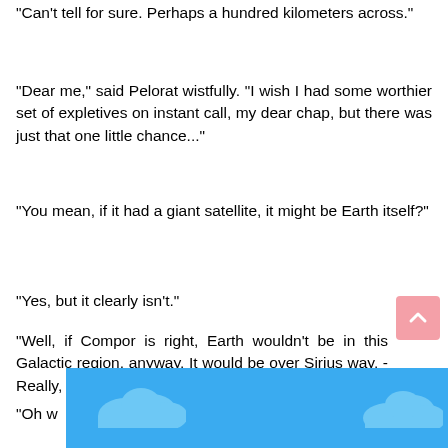"Can't tell for sure. Perhaps a hundred kilometers across."
"Dear me," said Pelorat wistfully. "I wish I had some worthier set of expletives on instant call, my dear chap, but there was just that one little chance..."
"You mean, if it had a giant satellite, it might be Earth itself?"
"Yes, but it clearly isn't."
"Well, if Compor is right, Earth wouldn't be in this Galactic region, anyway. It would be over Sirius way. - Really, Janov, I'm sorry."
"Oh w
[Figure (illustration): Blue sky background with light blue cloud shapes, partially visible at the bottom of the page.]